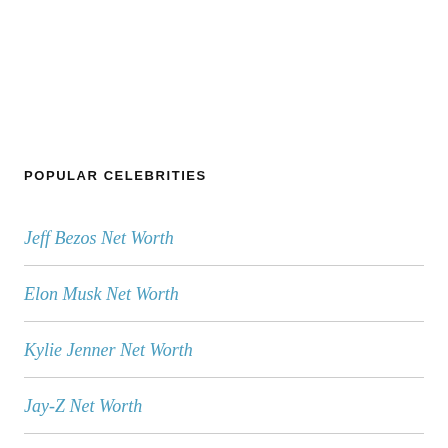POPULAR CELEBRITIES
Jeff Bezos Net Worth
Elon Musk Net Worth
Kylie Jenner Net Worth
Jay-Z Net Worth
Beyonce Net Worth
Drake Net Worth